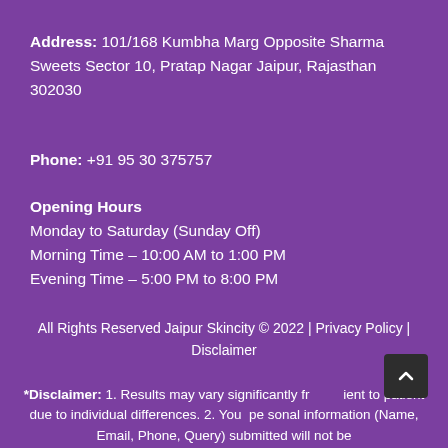Address: 101/168 Kumbha Marg Opposite Sharma Sweets Sector 10, Pratap Nagar Jaipur, Rajasthan 302030
Phone: +91 95 30 375757
Opening Hours
Monday to Saturday (Sunday Off)
Morning Time – 10:00 AM to 1:00 PM
Evening Time – 5:00 PM to 8:00 PM
All Rights Reserved Jaipur Skincity © 2022 | Privacy Policy | Disclaimer
*Disclaimer: 1. Results may vary significantly from patient to patient due to individual differences. 2. Your personal information (Name, Email, Phone, Query) submitted will not be